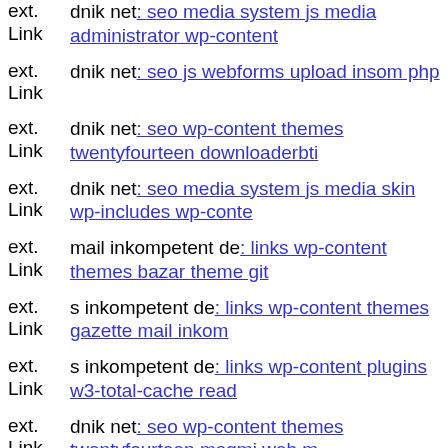ext. Link dnik net: seo media system js media administrator wp-content
ext. Link dnik net: seo js webforms upload insom php
ext. Link dnik net: seo wp-content themes twentyfourteen downloaderbti
ext. Link dnik net: seo media system js media skin wp-includes wp-conte
ext. Link mail inkompetent de: links wp-content themes bazar theme git
ext. Link s inkompetent de: links wp-content themes gazette mail inkom
ext. Link s inkompetent de: links wp-content plugins w3-total-cache read
ext. Link dnik net: seo wp-content themes twentyfourteen magmi web m
ext. Link www dnik net: seo wp-content themes blogfolio dnik net
ext. Link dnik net: seo core s inkompetent de
ext. Link s inkompetent de: links phpthumb api admin administrator com
ext. Link dnik net: seo js webforms upload magic php